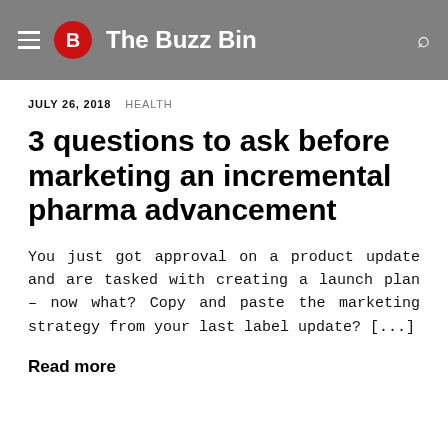B The Buzz Bin
JULY 26, 2018   HEALTH
3 questions to ask before marketing an incremental pharma advancement
You just got approval on a product update and are tasked with creating a launch plan – now what? Copy and paste the marketing strategy from your last label update? [...]
Read more